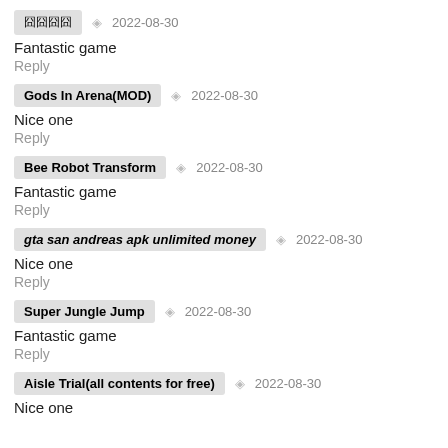囧囧囧囧   2022-08-30
Fantastic game
Reply
Gods In Arena(MOD)   2022-08-30
Nice one
Reply
Bee Robot Transform   2022-08-30
Fantastic game
Reply
gta san andreas apk unlimited money   2022-08-30
Nice one
Reply
Super Jungle Jump   2022-08-30
Fantastic game
Reply
Aisle Trial(all contents for free)   2022-08-30
Nice one